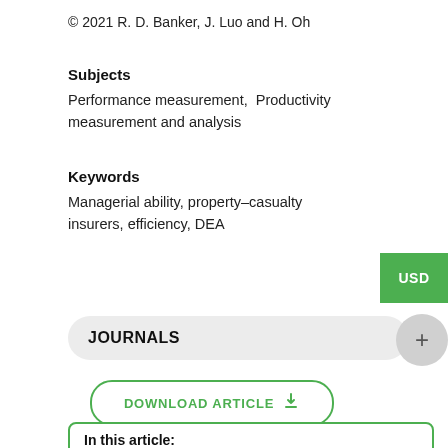© 2021 R. D. Banker, J. Luo and H. Oh
Subjects
Performance measurement,  Productivity measurement and analysis
Keywords
Managerial ability, property–casualty insurers, efficiency, DEA
JOURNALS
DOWNLOAD ARTICLE
In this article:
1 Introduction
2 Measures of Managerial Ability